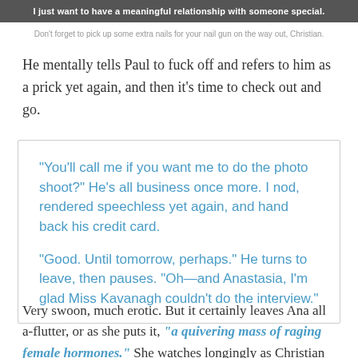[Figure (photo): Dark image bar with white text overlay reading 'I just want to have a meaningful relationship with someone special.']
Don’t forget to pick up some extra nails for your nail gun on the way out, Christian.
He mentally tells Paul to fuck off and refers to him as a prick yet again, and then it’s time to check out and go.
“You’ll call me if you want me to do the photo shoot?” He’s all business once more. I nod, rendered speechless yet again, and hand back his credit card.

“Good. Until tomorrow, perhaps.” He turns to leave, then pauses. “Oh—and Anastasia, I’m glad Miss Kavanagh couldn’t do the interview.”
Very swoon, much erotic. But it certainly leaves Ana all a-flutter, or as she puts it, “a quivering mass of raging female hormones.” She watches longingly as Christian walks out the door, probably to go